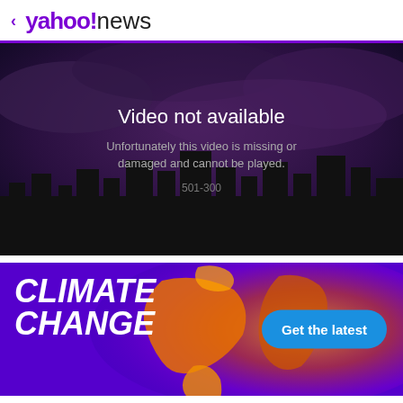< yahoo!news
[Figure (screenshot): Video player showing error: 'Video not available. Unfortunately this video is missing or damaged and cannot be played. 501-300' over dark smoky cityscape background]
[Figure (infographic): Climate Change banner with world map graphic in purple/orange/yellow tones, bold italic white text 'CLIMATE CHANGE', and a blue pill button 'Get the latest']
View comments
[Figure (infographic): Social share icons: Facebook (blue circle with f), Twitter (light blue circle with bird), Email (purple circle with envelope)]